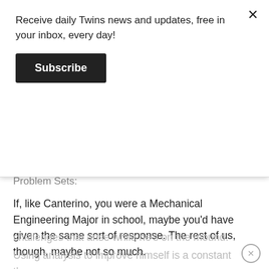Receive daily Twins news and updates, free in your inbox, every day!
Subscribe
Problem Sets:
If, like Canterino, you were a Mechanical Engineering Major in school, maybe you'd have given the same sort of response. The rest of us, though, maybe not so much.
In any event, if working through the engineering problem sets is what Canterino has enjoyed doing with his down time, we can probably safely assume he's capable of analyzing and working through any challenges that arise while he's on the mound.
Using analysis to improve himself is a constant theme